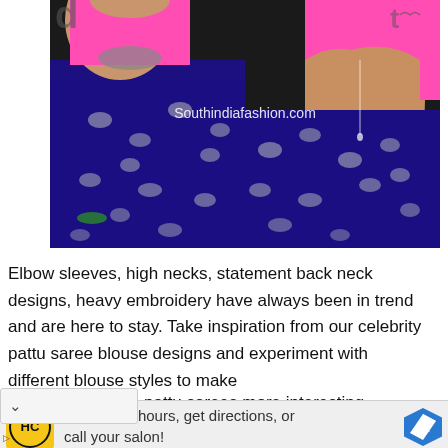[Figure (photo): Two women wearing matching dark blue/purple silk sarees with silver elephant motifs and pink elbow-sleeve blouses. One viewed from front-left, one from the back showing an open-back blouse design. Watermark reads 'Southindiafashion.com'.]
Elbow sleeves, high necks, statement back neck designs, heavy embroidery have always been in trend and are here to stay. Take inspiration from our celebrity pattu saree blouse designs and experiment with different blouse styles to make pattu sarees more interesting.
[Figure (infographic): Advertisement banner: HC logo (yellow circle with HC text on yellow background), text 'View store hours, get directions, or call your salon!' with a blue navigation arrow icon on the right.]